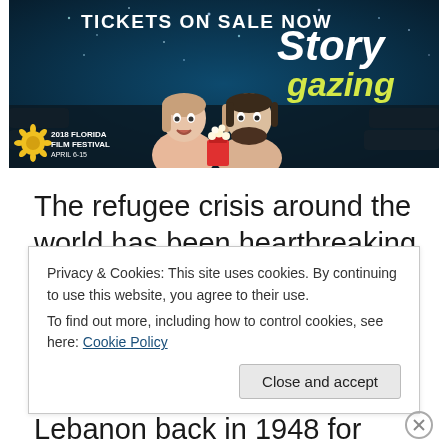[Figure (illustration): 2018 Florida Film Festival banner ad showing two people watching a movie in a theater with popcorn, dark blue bokeh background, 'TICKETS ON SALE NOW' text at top, 'Story gazing' on the right, sunflower logo and 'April 6-15' at bottom left.]
The refugee crisis around the world has been heartbreaking and seems to only be getting worse. In Lebanon, the Bourj el-Barajneh was founded in the outskirts of Beirut, Lebanon back in 1948 for Palestinian
Privacy & Cookies: This site uses cookies. By continuing to use this website, you agree to their use.
To find out more, including how to control cookies, see here: Cookie Policy
Close and accept